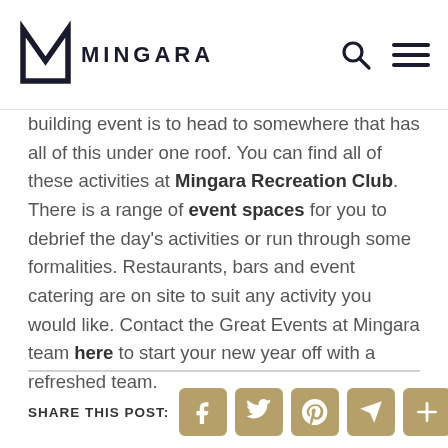MINGARA
building event is to head to somewhere that has all of this under one roof. You can find all of these activities at Mingara Recreation Club. There is a range of event spaces for you to debrief the day's activities or run through some formalities. Restaurants, bars and event catering are on site to suit any activity you would like. Contact the Great Events at Mingara team here to start your new year off with a refreshed team.
SHARE THIS POST: